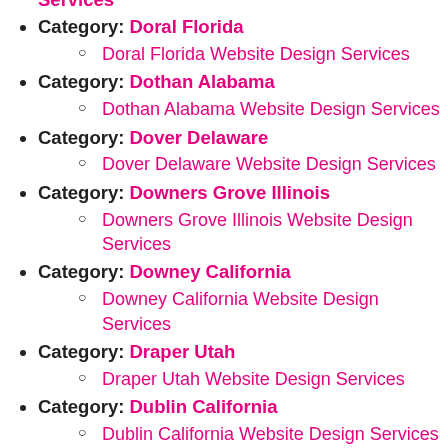Services
Category: Doral Florida
Doral Florida Website Design Services
Category: Dothan Alabama
Dothan Alabama Website Design Services
Category: Dover Delaware
Dover Delaware Website Design Services
Category: Downers Grove Illinois
Downers Grove Illinois Website Design Services
Category: Downey California
Downey California Website Design Services
Category: Draper Utah
Draper Utah Website Design Services
Category: Dublin California
Dublin California Website Design Services
Category: Dublin Ohio
Dublin Ohio Website Design Services